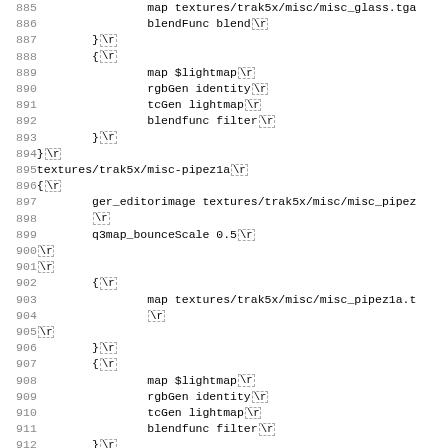Code listing lines 885-916 showing shader script content for textures/trak5x/misc-pipez1a and textures/trak5x/misc-thingy1a with associated rendering parameters